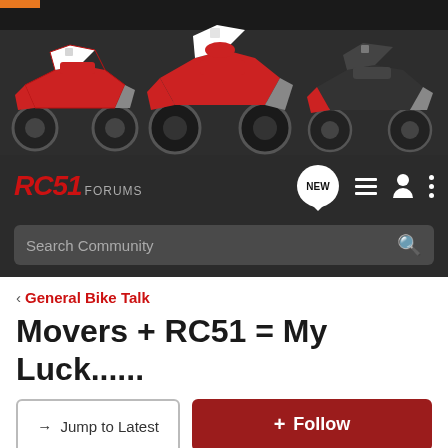[Figure (photo): Banner image showing three sport motorcycles (Honda RC51 models in red/white colorways) against a dark grey background]
RC51 FORUMS
Search Community
General Bike Talk
Movers + RC51 = My Luck......
→ Jump to Latest
+ Follow
1 - 6 of 6 Posts
groundpoundn2000 · Registered
Joined Sep 23, 2009 · 44 Posts